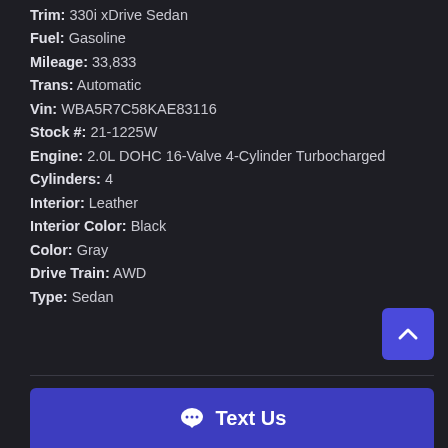Trim: 330i xDrive Sedan
Fuel: Gasoline
Mileage: 33,833
Trans: Automatic
Vin: WBA5R7C58KAE83116
Stock #: 21-1225W
Engine: 2.0L DOHC 16-Valve 4-Cylinder Turbocharged
Cylinders: 4
Interior: Leather
Interior Color: Black
Color: Gray
Drive Train: AWD
Type: Sedan
Text Us